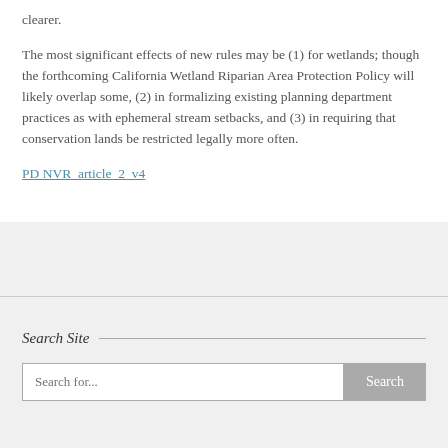clearer.
The most significant effects of new rules may be (1) for wetlands; though the forthcoming California Wetland Riparian Area Protection Policy will likely overlap some, (2) in formalizing existing planning department practices as with ephemeral stream setbacks, and (3) in requiring that conservation lands be restricted legally more often.
PD NVR_article_2_v4
Search Site